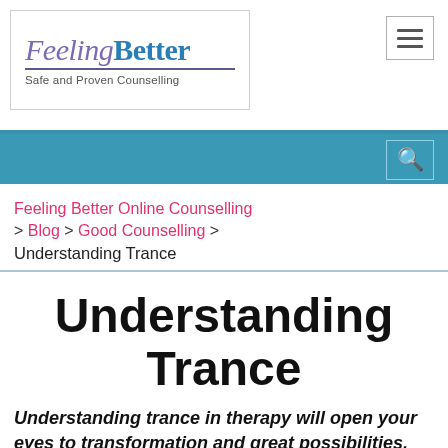[Figure (logo): FeelingBetter logo with italic purple 'Feeling' and bold blue 'Better', tagline 'Safe and Proven Counselling', followed by hamburger menu icon and teal banner with search icon]
Feeling Better Online Counselling > Blog > Good Counselling > Understanding Trance
Understanding Trance
Understanding trance in therapy will open your eyes to transformation and great possibilities.